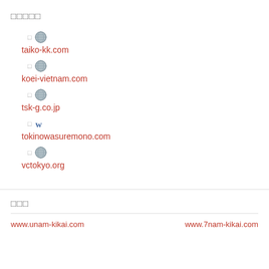□□□□□
□ 🌐 taiko-kk.com
□ 🌐 koei-vietnam.com
□ 🌐 tsk-g.co.jp
□ w tokinowasuremono.com
□ 🌐 vctokyo.org
□□□
www.unam-kikai.com   www.7nam-kikai.com